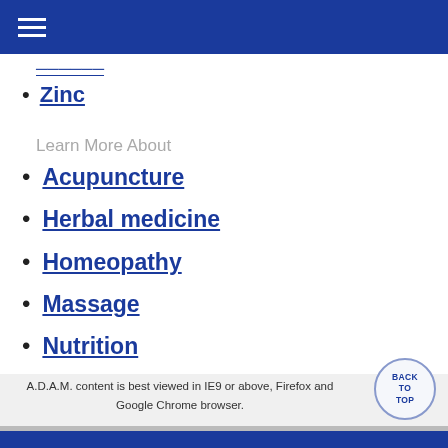Zinc
Learn More About
Acupuncture
Herbal medicine
Homeopathy
Massage
Nutrition
A.D.A.M. content is best viewed in IE9 or above, Firefox and Google Chrome browser.